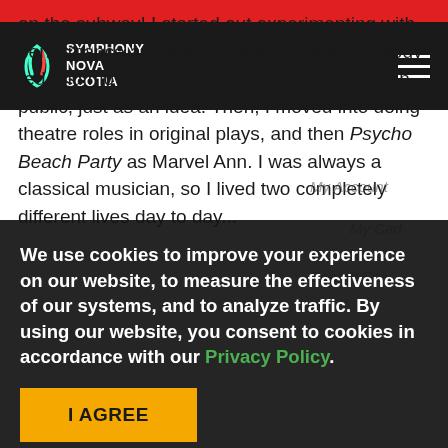Symphony Nova Scotia — navigation header with logo and hamburger menu
on the subway! I started out experimenting with performance art ideas – painting my whole body red and moving in slow motion for five hours in public, just as an idea. Then, I moved into doing theatre roles in original plays, and then Psycho Beach Party as Marvel Ann. I was always a classical musician, so I lived two completely different lives day to day... basement club scene experimenting with years. I was brought into large clubs and worked for almost every club/promoter/party in NYC for years. I
We use cookies to improve your experience on our website, to measure the effectiveness of our systems, and to analyze traffic. By using our website, you consent to cookies in accordance with our Privacy Policy.
I AGREE